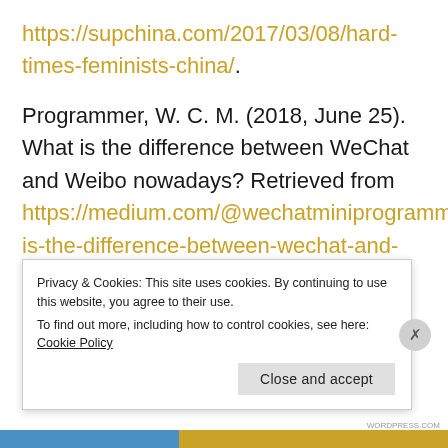https://supchina.com/2017/03/08/hard-times-feminists-china/.
Programmer, W. C. M. (2018, June 25). What is the difference between WeChat and Weibo nowadays? Retrieved from https://medium.com/@wechatminiprogrammer/what-is-the-difference-between-wechat-and-weibo-nowadays-33db40a73e76.
Privacy & Cookies: This site uses cookies. By continuing to use this website, you agree to their use.
To find out more, including how to control cookies, see here: Cookie Policy